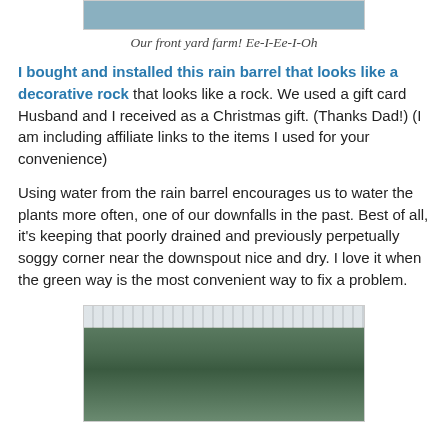[Figure (photo): Top portion of a garden/front yard farm photo, partially cropped at the top of the page]
Our front yard farm! Ee-I-Ee-I-Oh
I bought and installed this rain barrel that looks like a decorative rock that looks like a rock. We used a gift card Husband and I received as a Christmas gift. (Thanks Dad!) (I am including affiliate links to the items I used for your convenience)
Using water from the rain barrel encourages us to water the plants more often, one of our downfalls in the past. Best of all, it's keeping that poorly drained and previously perpetually soggy corner near the downspout nice and dry. I love it when the green way is the most convenient way to fix a problem.
[Figure (photo): Garden bed with large leafy plants, a cylindrical rock-like rain barrel in the center background, white fence visible behind, in the front yard]